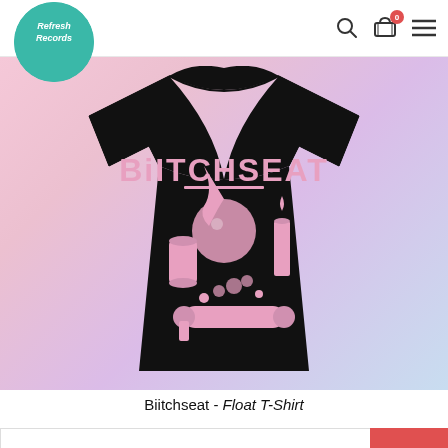[Figure (logo): Refresh Records circular teal logo with white script text]
[Figure (photo): Black Biitchseat Float T-shirt with pink graphic design showing text BIITCHSEAT and mystical objects on a blurred pink/purple background]
Biitchseat - Float T-Shirt